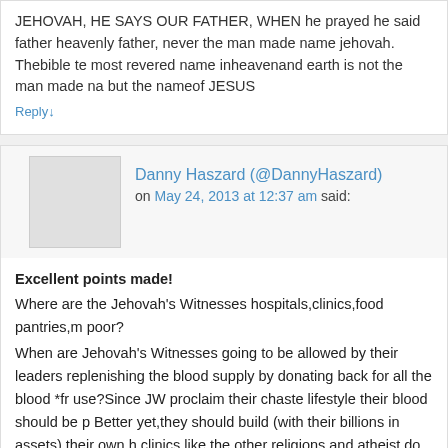JEHOVAH, HE SAYS OUR FATHER, WHEN he prayed he said father heavenly father, never the man made name jehovah. Thebible te most revered name inheavenand earth is not the man made na but the nameof JESUS
Reply↓
Danny Haszard (@DannyHaszard)
on May 24, 2013 at 12:37 am said:
Excellent points made! Where are the Jehovah's Witnesses hospitals,clinics,food pantries,m poor? When are Jehovah's Witnesses going to be allowed by their leaders replenishing the blood supply by donating back for all the blood *fr use?Since JW proclaim their chaste lifestyle their blood should be p Better yet,they should build (with their billions in assets) their own h clinics like the other religions and atheist do.